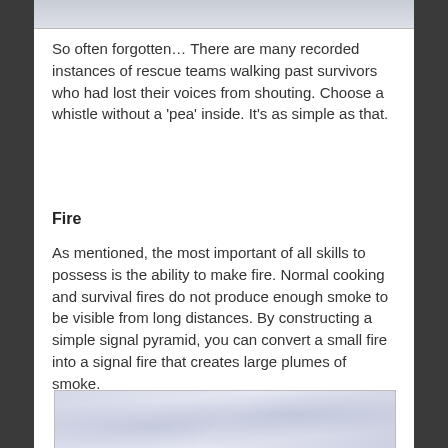[Figure (photo): Partial image at top of page, cropped — appears to be an outdoor/survival scene]
So often forgotten… There are many recorded instances of rescue teams walking past survivors who had lost their voices from shouting. Choose a whistle without a 'pea' inside. It's as simple as that.
Fire
As mentioned, the most important of all skills to possess is the ability to make fire. Normal cooking and survival fires do not produce enough smoke to be visible from long distances. By constructing a simple signal pyramid, you can convert a small fire into a signal fire that creates large plumes of smoke.
[Figure (photo): Partial image at bottom of page showing smoke or clouds, partially cropped]